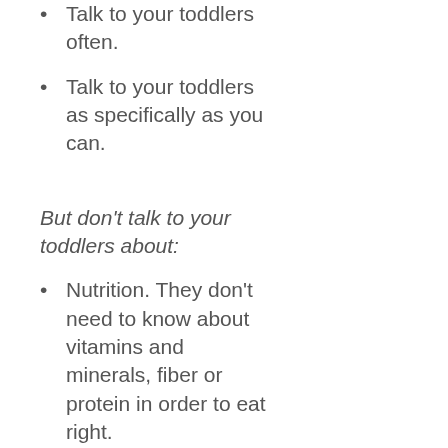Talk to your toddlers often.
Talk to your toddlers as specifically as you can.
But don't talk to your toddlers about:
Nutrition. They don't need to know about vitamins and minerals, fiber or protein in order to eat right.
Health. They don't want to hear it. They'll just tune you out.
How much they should eat. They...